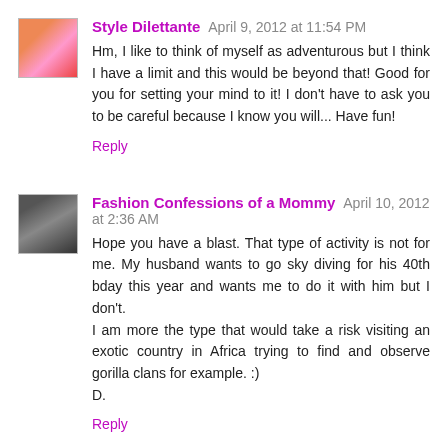[Figure (photo): Avatar/profile photo for Style Dilettante, colorful pink tones]
Style Dilettante April 9, 2012 at 11:54 PM
Hm, I like to think of myself as adventurous but I think I have a limit and this would be beyond that! Good for you for setting your mind to it! I don't have to ask you to be careful because I know you will... Have fun!
Reply
[Figure (photo): Avatar/profile photo for Fashion Confessions of a Mommy, dark tones with sunglasses]
Fashion Confessions of a Mommy April 10, 2012 at 2:36 AM
Hope you have a blast. That type of activity is not for me. My husband wants to go sky diving for his 40th bday this year and wants me to do it with him but I don't.
I am more the type that would take a risk visiting an exotic country in Africa trying to find and observe gorilla clans for example. :)
D.
Reply